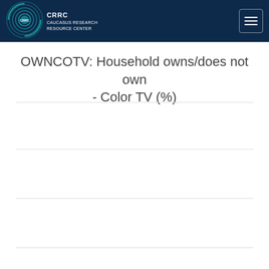CRRC - Caucasus Research Resource Center
OWNCOTV: Household owns/does not own - Color TV (%)